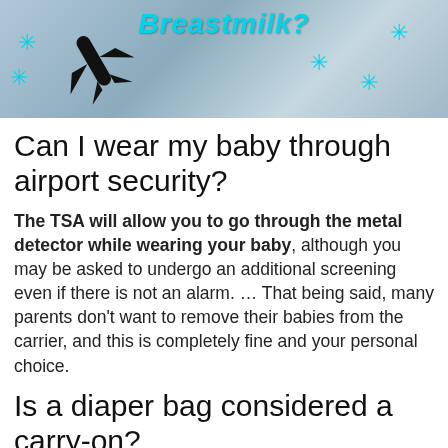[Figure (photo): Partial image showing an airplane graphic and decorative snowflake/asterisk elements in teal, with text 'Breastmilk?' overlay in teal italic bold font on a muted blue-gray background]
Can I wear my baby through airport security?
The TSA will allow you to go through the metal detector while wearing your baby, although you may be asked to undergo an additional screening even if there is not an alarm. … That being said, many parents don't want to remove their babies from the carrier, and this is completely fine and your personal choice.
Is a diaper bag considered a carry-on?